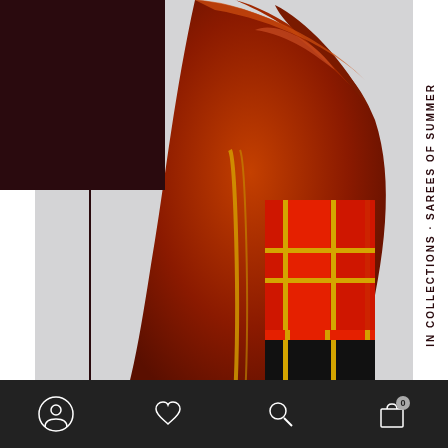[Figure (photo): A draped red and black Indian saree with gold border detailing, shown against a light grey background. The saree features a plaid/check pattern border with horizontal stripes and fringe at the bottom.]
IN COLLECTIONS · SAREES OF SUMMER
[Figure (other): Bottom navigation bar with account, heart/wishlist, search, and cart icons on dark background]